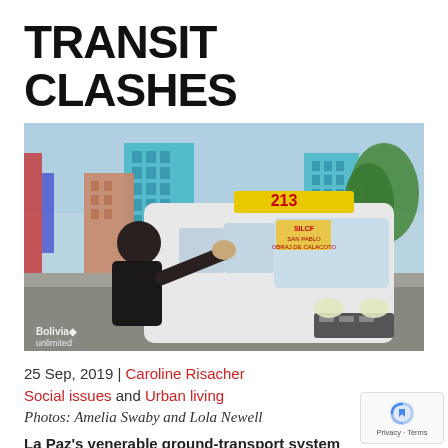TRANSIT CLASHES
[Figure (photo): A person hailing a white minibus/micro van numbered 213 on a city street in La Paz, Bolivia. Buildings and trees visible in background. Windshield has yellow route signs. Bolivia Unlimited watermark in lower left corner.]
25 Sep, 2019 | Caroline Risacher
Social issues and Urban living
Photos: Amelia Swaby and Lola Newell
La Paz's venerable ground-transport system